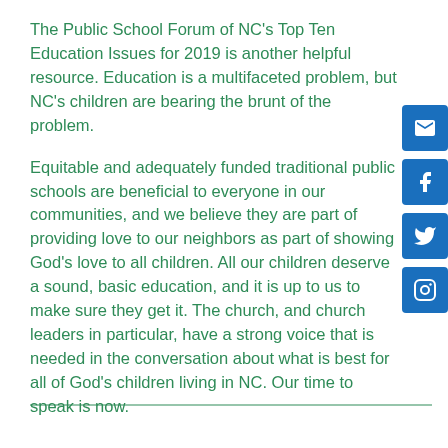The Public School Forum of NC's Top Ten Education Issues for 2019 is another helpful resource. Education is a multifaceted problem, but NC's children are bearing the brunt of the problem.
Equitable and adequately funded traditional public schools are beneficial to everyone in our communities, and we believe they are part of providing love to our neighbors as part of showing God's love to all children. All our children deserve a sound, basic education, and it is up to us to make sure they get it. The church, and church leaders in particular, have a strong voice that is needed in the conversation about what is best for all of God's children living in NC. Our time to speak is now.